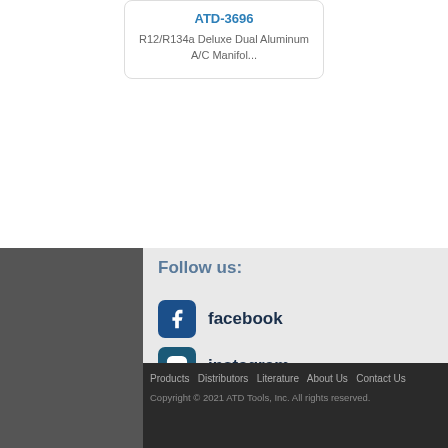ATD-3696
R12/R134a Deluxe Dual Aluminum A/C Manifol...
Follow us:
facebook
instagram
twitter
youtube
Product Search...
Products  Distributors  Literature  About Us  Contact Us
Copyright © 2021 ATD Tools, Inc. All rights reserved.